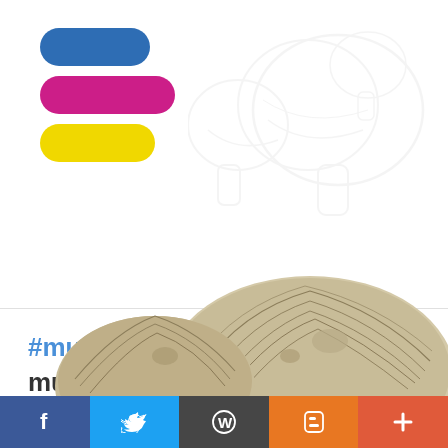[Figure (logo): Three horizontally stacked pill/capsule shapes: top blue, middle pink/magenta, bottom yellow. Staircase arrangement stepping right. Flaticon logo branding.]
[Figure (illustration): Faint watermark outline of mushrooms in the top-right background area.]
#mushroom #clipart red mushroom mushroom red mushroom #transparent free for #download on
[Figure (illustration): Bottom portion of illustrated mushrooms - hand-drawn style with cross-hatching, tan/beige colored caps visible at bottom of page.]
[Figure (infographic): Social share footer bar with 5 colored sections: Facebook (dark blue, f), Twitter (light blue, bird), WordPress (dark grey, W), Blogger (orange, B), Plus (red-orange, +)]